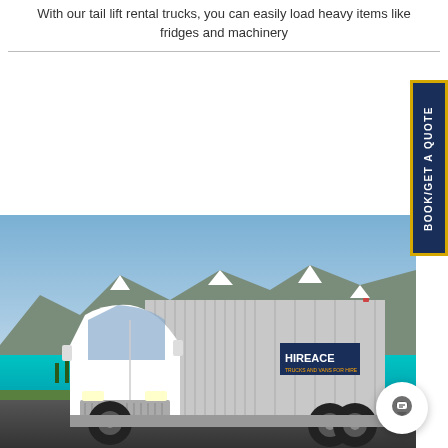With our tail lift rental trucks, you can easily load heavy items like fridges and machinery
[Figure (photo): White box truck with HIREACE branding parked in front of snowy mountains and blue lake scenery]
[Figure (other): BOOK/GET A QUOTE vertical button tab on right side]
[Figure (other): Chat bubble icon in bottom right corner]